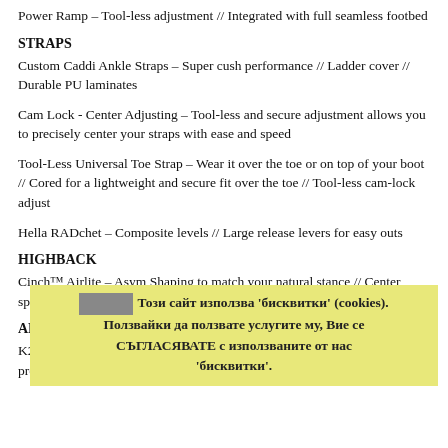Power Ramp – Tool-less adjustment // Integrated with full seamless footbed
STRAPS
Custom Caddi Ankle Straps – Super cush performance // Ladder cover // Durable PU laminates
Cam Lock - Center Adjusting – Tool-less and secure adjustment allows you to precisely center your straps with ease and speed
Tool-Less Universal Toe Strap – Wear it over the toe or on top of your boot // Cored for a lightweight and secure fit over the toe // Tool-less cam-lock adjust
Hella RADchet – Composite levels // Large release levers for easy outs
HIGHBACK
Cinch™ Airlite – Asym Shaping to match your natural stance // Center spine for heel-side support // Thermo-formed EVA calfpad
ADDITIONAL FEATURES
K2's Cinch Technology™ – Superior engineering, innovation and progression at its finest. Cinch Technology™ offers riders the response and
Този сайт използва 'бисквитки' (cookies). Ползвайки да ползвате услугите му, Вие се СЪГЛАСЯВАТЕ с използваните от нас 'бисквитки'.